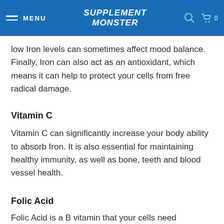SUPPLEMENT MONSTER | MENU
low Iron levels can sometimes affect mood balance. Finally, Iron can also act as an antioxidant, which means it can help to protect your cells from free radical damage.
Vitamin C
Vitamin C can significantly increase your body ability to absorb Iron. It is also essential for maintaining healthy immunity, as well as bone, teeth and blood vessel health.
Folic Acid
Folic Acid is a B vitamin that your cells need